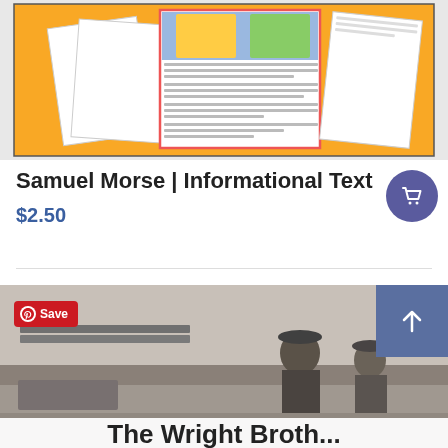[Figure (screenshot): Product thumbnail image showing educational worksheet pages about Samuel Morse on an orange background]
Samuel Morse | Informational Text
$2.50
[Figure (photo): Black and white photo of two men in hats standing outdoors near an early aircraft; title text 'The Wright Broth...' partially visible at bottom]